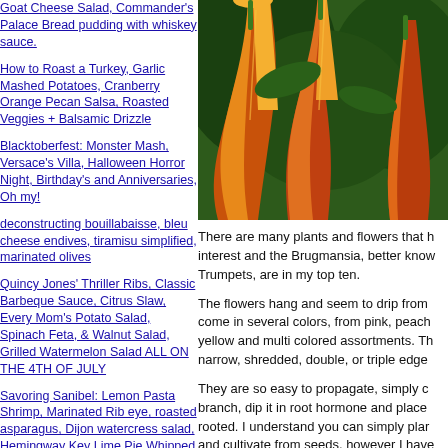Goat Cheese Salad, Commander's Palace Bread pudding with whiskey sauce.
How to Roast a Turkey, Garlic Mashed Potatoes, Cranberry Orange Pecan Salsa, Roasted Veggies + Balsamic Drizzle
Blacktoberfest: Monster Mash, Versace's Villa, Halloween Horror Night, Birthday's and Anniversaries, Oh my!
deconstructing bouillabaisse, bleu cheese endives, tiramisu simplified, marinated olives
Quincy Jones' Thriller Ribs, Classic Barbeque Sauce, Citrus Slaw, Every Mom's Potato Salad, Spinach Feta, & Walnut Salad, Grilled Watermelon Salad ALL ON THE 4TH OF JULY
Savoring Sanibel: Lemon Pasta Shrimp, Marinated Rib eye, roasted asparagus, Dijon watercress salad, Hemingway Key Lime Pie Whipped Cream, Dead Parrot Wings
Tomato Zucchini Soup
Chocolate, Chocolate, Chocolate
[Figure (photo): Close-up photograph of Brugmansia (Angel's Trumpets) flowers hanging downward, showing large orange-red trumpet-shaped blooms with yellow streaks against dark green foliage]
There are many plants and flowers that h interest and the Brugmansia, better know Trumpets, are in my top ten. The flowers hang and seem to drip from come in several colors, from pink, peach yellow and multi colored assortments. Th narrow, shredded, double, or triple edge They are so easy to propagate, simply c branch, dip it in root hormone and place rooted. I understand you can simply plar and cultivate from seeds, however I have